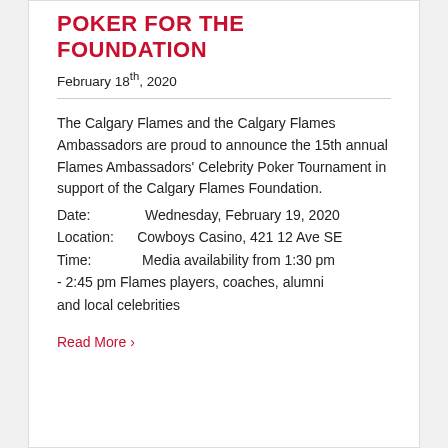POKER FOR THE FOUNDATION
February 18th, 2020
The Calgary Flames and the Calgary Flames Ambassadors are proud to announce the 15th annual Flames Ambassadors' Celebrity Poker Tournament in support of the Calgary Flames Foundation.
Date: Wednesday, February 19, 2020
Location: Cowboys Casino, 421 12 Ave SE
Time: Media availability from 1:30 pm - 2:45 pm Flames players, coaches, alumni and local celebrities
Read More ›